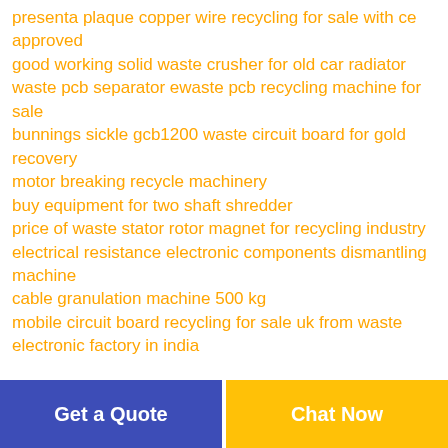presenta plaque copper wire recycling for sale with ce approved
good working solid waste crusher for old car radiator
waste pcb separator ewaste pcb recycling machine for sale
bunnings sickle gcb1200 waste circuit board for gold recovery
motor breaking recycle machinery
buy equipment for two shaft shredder
price of waste stator rotor magnet for recycling industry
electrical resistance electronic components dismantling machine
cable granulation machine 500 kg
mobile circuit board recycling for sale uk from waste electronic factory in india
Get a Quote
Chat Now